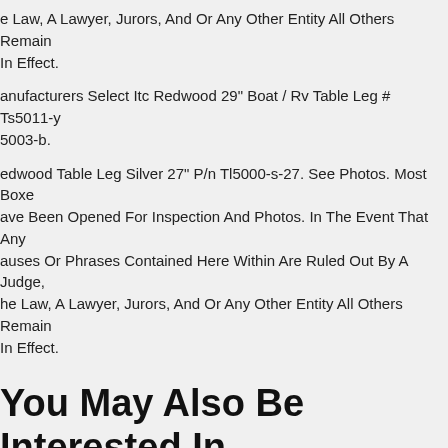e Law, A Lawyer, Jurors, And Or Any Other Entity All Others Remain In Effect.
anufacturers Select Itc Redwood 29" Boat / Rv Table Leg # Ts5011-y 5003-b.
edwood Table Leg Silver 27" P/n Tl5000-s-27. See Photos. Most Boxes Have Been Opened For Inspection And Photos. In The Event That Any Clauses Or Phrases Contained Here Within Are Ruled Out By A Judge, The Law, A Lawyer, Jurors, And Or Any Other Entity All Others Remain In Effect.
You May Also Be Interested In
Sort By Pricing <$42 :: <$103 :: <$234 :: <$396 :: <$510 :: <$991 :: <$1378 :: <$1962 :: <$2372 :: <$4713
More Listings Relevant Items :: Ending :: Lowest Prices :: Maximum Price :: New Auctions